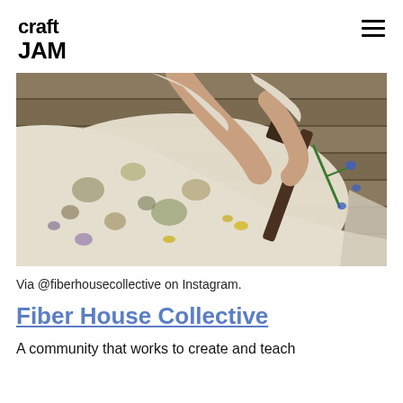craft JAM
[Figure (photo): Person hammering flowers onto white fabric laid on wooden deck boards, creating botanical print impressions. Visible plant material including green stems, blue flowers, and yellow petals scattered around.]
Via @fiberhousecollective on Instagram.
Fiber House Collective
A community that works to create and teach